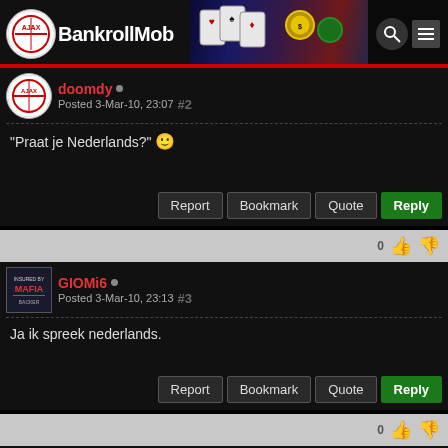The BankrollMob
doomdy — Posted 3-Mar-10, 23:07 #2
"Praat je Nederlands?" 🙂
GIOMi6 — Posted 3-Mar-10, 23:13 #3
Ja ik spreek nederlands.
doomdy — Posted 3-Mar-10, 23:14 #4